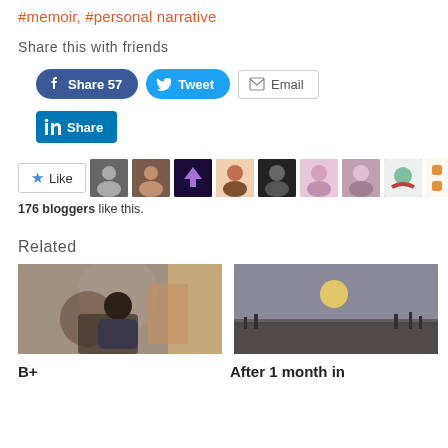#memoir, #personal narrative
Share this with friends
[Figure (screenshot): Social share buttons: Facebook Share 57, Tweet, Email, LinkedIn Share]
[Figure (screenshot): Like button with star icon and 10 blogger avatar thumbnails. 176 bloggers like this.]
176 bloggers like this.
Related
[Figure (photo): Photo of a man sitting in a chair, relaxed pose indoors]
[Figure (photo): Outdoor hazy sunset/dusk landscape photo]
B+
After 1 month in